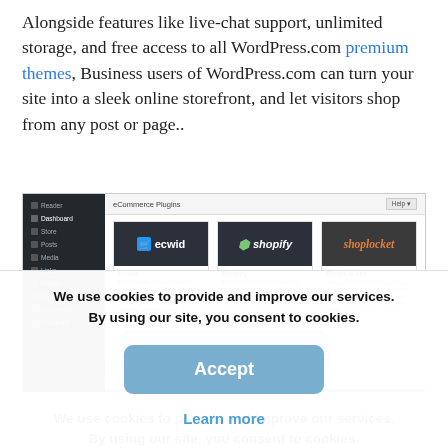Alongside features like live-chat support, unlimited storage, and free access to all WordPress.com premium themes, Business users of WordPress.com can turn your site into a sleek online storefront, and let visitors shop from any post or page..
[Figure (screenshot): Screenshot of WordPress.com eCommerce Plugins page showing Ecwid, Shopify, and ShopLocket plugin options with descriptions]
We use cookies to provide and improve our services. By using our site, you consent to cookies.
Accept
Learn more